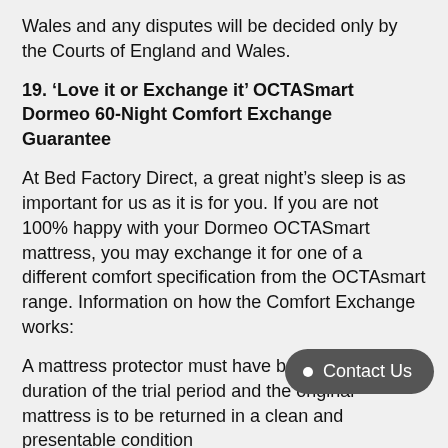Wales and any disputes will be decided only by the Courts of England and Wales.
19. ‘Love it or Exchange it’ OCTASmart Dormeo 60-Night Comfort Exchange Guarantee
At Bed Factory Direct, a great night’s sleep is as important for us as it is for you. If you are not 100% happy with your Dormeo OCTASmart mattress, you may exchange it for one of a different comfort specification from the OCTAsmart range. Information on how the Comfort Exchange works:
A mattress protector must have been used for the duration of the trial period and the original mattress is to be returned in a clean and presentable condition
Notification to exchange the mattress must be made to Bed Factory Direct via an email to customerserivce@bedfactorydirect.co.uk or by calling Customer Services on 0151 548 1554 within the specified time limit (60 Days); proof of purchase must also be supplied.
In the event that a higher-priced alternative is selected, then a difference in cost must be paid by the customer.